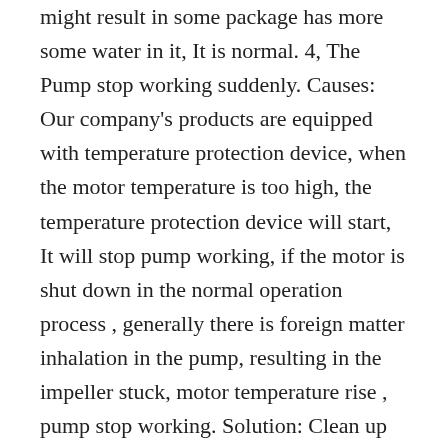might result in some package has more some water in it, It is normal. 4, The Pump stop working suddenly. Causes: Our company's products are equipped with temperature protection device, when the motor temperature is too high, the temperature protection device will start, It will stop pump working, if the motor is shut down in the normal operation process , generally there is foreign matter inhalation in the pump, resulting in the impeller stuck, motor temperature rise , pump stop working. Solution: Clean up the waste inside the filter screen of the water pump regularly to prevent the waste foreign matter from flowing into the water pump to jam the impeller. Disassemble the pump body, clean up the foreign matter on the back of the pump body to ensure that there is no foreign matter blocking the impeller, and re-assembly can be reused. The foreign matter of the pump impeller and